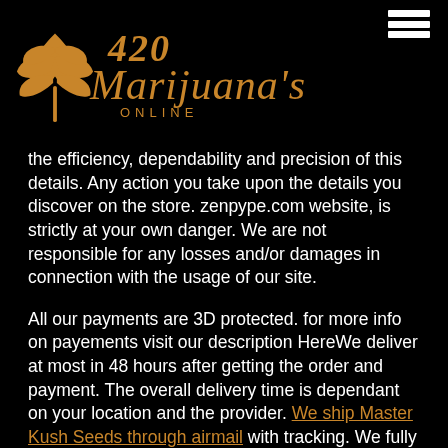420 Marijuana's Online
the efficiency, dependability and precision of this details. Any action you take upon the details you discover on the store. zenpype.com website, is strictly at your own danger. We are not responsible for any losses and/or damages in connection with the usage of our site.
All our payments are 3D protected. for more info on payements visit our description HereWe deliver at most in 48 hours after getting the order and payment. The overall delivery time is dependant on your location and the provider. We ship Master Kush Seeds through airmail with tracking. We fully value the requirement for discreet packaging.
There are no website logos and there will be no recommendation to the contents on the exterior of the